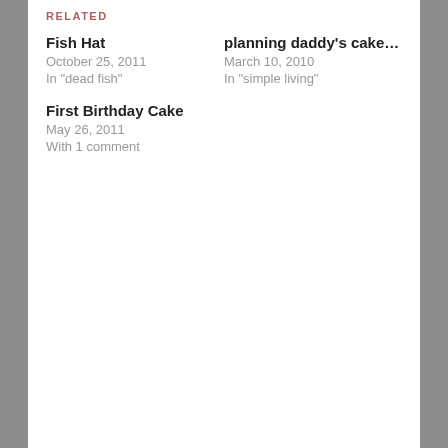RELATED
Fish Hat
October 25, 2011
In "dead fish"
planning daddy's cake…
March 10, 2010
In "simple living"
First Birthday Cake
May 26, 2011
With 1 comment
Published by Mandy
Mandy is an unschooling mom of five. She is an avid reader and self-proclaimed research fanatic. When not helping her children, teaching classes, planning educational community events, writing, or fencing, she can perpetually be found with a book in hand.
View all posts by Mandy